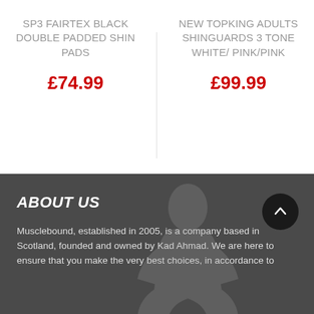SP3 FAIRTEX BLACK DOUBLE PADDED SHIN PADS
£74.99
NEW TOPKING ADULTS SHINGUARDS 3 TONE WHITE/ PINK/PINK
£99.99
ABOUT US
Musclebound, established in 2005, is a company based in Scotland, founded and owned by Kad Ahmad. We are here to ensure that you make the very best choices, in accordance to